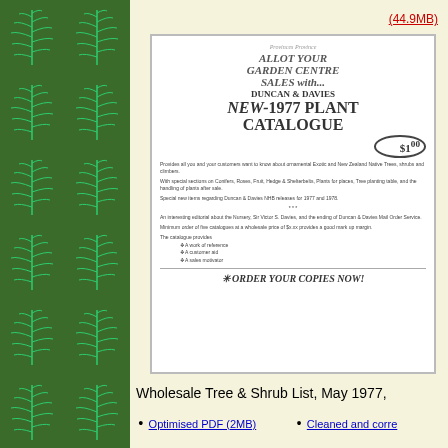[Figure (illustration): Green fern leaf pattern repeated in a grid on dark green background, left panel decoration]
(44.9MB)
[Figure (illustration): Scanned catalogue page for Duncan & Davies NEW-1977 PLANT CATALOGUE. Headline reads 'ALLOT YOUR GARDEN CENTRE SALES with... DUNCAN & DAVIES NEW-1977 PLANT CATALOGUE' with price $1.00. Body text describes catalogue contents including ornamental exotic and New Zealand native trees, shrubs, climbers, sections on conifers, roses, fruit, hedge and shelterbelts, plants for places, tree planting table, handling of plants after sale. Special new items regarding Duncan & Davies NHB releases for 1977 and 1978. Notes an interesting editorial about the nursery, Sir Victor S. Davies, and ending of Duncan & Davies Mail Order Service. Minimum order of five catalogues at wholesale price of $x.xx provides a good mark up margin. The catalogue provides: a work of reference, customer aid, sales motivator. Footer: ORDER YOUR COPIES NOW!]
Wholesale Tree & Shrub List, May 1977,
Optimised PDF (2MB)
Cleaned and corre